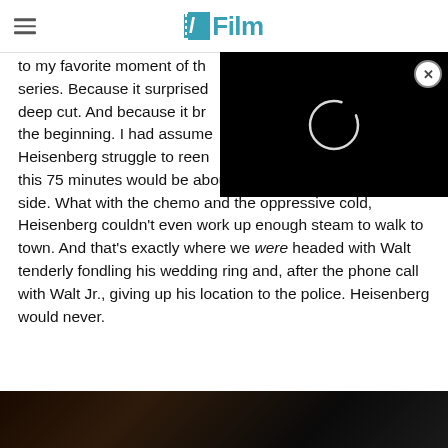/Film
to my favorite moment of the series. Because it surprised [me as a] deep cut. And because it brought [me back to] the beginning. I had assumed [watching] Heisenberg struggle to reen[ter society,] this 75 minutes would be about the end of Walt's darker side. What with the chemo and the oppressive cold, Heisenberg couldn't even work up enough steam to walk to town. And that's exactly where we were headed with Walt tenderly fondling his wedding ring and, after the phone call with Walt Jr., giving up his location to the police. Heisenberg would never.
[Figure (photo): Dark cinematic still image from a TV show or film, showing shadowy figures in low light.]